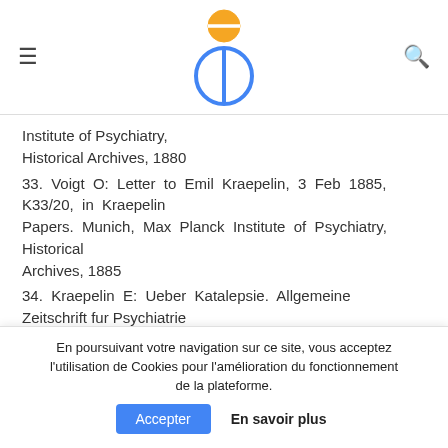[Figure (logo): Circular logo with blue ring and gold/yellow top circle with horizontal line, resembling a stylized person or planet symbol]
Institute of Psychiatry, Historical Archives, 1880
33. Voigt O: Letter to Emil Kraepelin, 3 Feb 1885, K33/20, in Kraepelin Papers. Munich, Max Planck Institute of Psychiatry, Historical Archives, 1885
34. Kraepelin E: Ueber Katalepsie. Allgemeine Zeitschrift fur Psychiatrie
1892; 48:170–172
En poursuivant votre navigation sur ce site, vous acceptez l'utilisation de Cookies pour l'amélioration du fonctionnement de la plateforme.
Accepter  En savoir plus